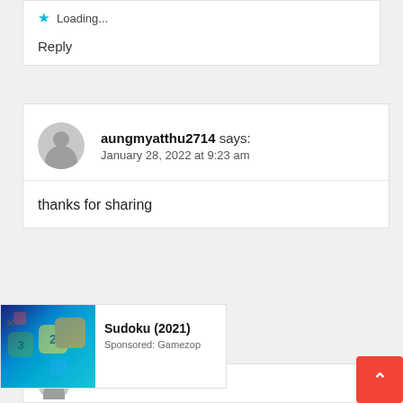★ Loading...
Reply
aungmyatthu2714 says:
January 28, 2022 at 9:23 am
thanks for sharing
[Figure (screenshot): Advertisement banner for Sudoku (2021) game by Gamezop, showing colorful sudoku tiles on a blue background]
Sudoku (2021)
Sponsored: Gamezop